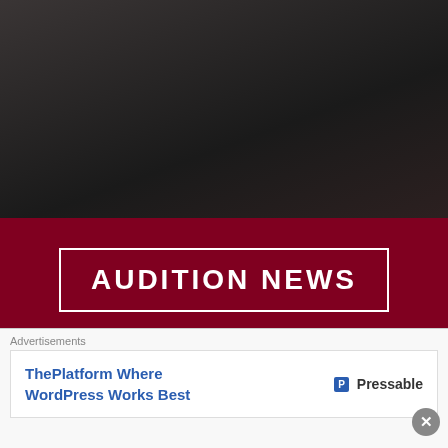[Figure (photo): Dark background photo, appears to show a person in dark clothing against a dark background]
AUDITION NEWS
Invisible Cabaret is always on the look out for singers, dancers, burlesquers, spoken word artists,
Advertisements
ThePlatform Where WordPress Works Best  Pressable